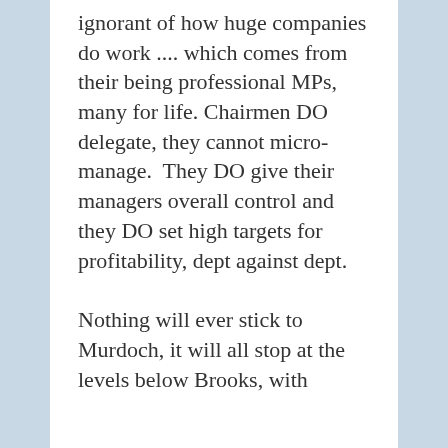ignorant of how huge companies do work .... which comes from their being professional MPs, many for life. Chairmen DO delegate, they cannot micro-manage.  They DO give their managers overall control and they DO set high targets for profitability, dept against dept.
Nothing will ever stick to Murdoch, it will all stop at the levels below Brooks, with